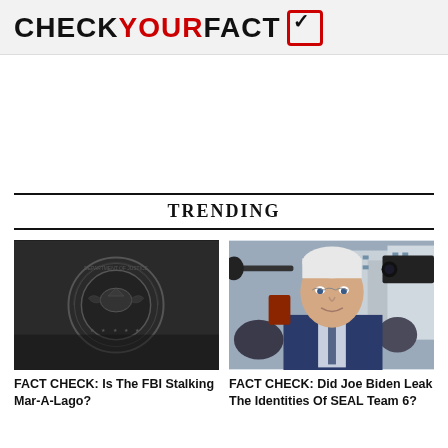CHECKYOURFACT
TRENDING
[Figure (photo): Dark photo of the FBI Department of Justice seal embossed on a wall]
FACT CHECK: Is The FBI Stalking Mar-A-Lago?
[Figure (photo): Photo of Joe Biden surrounded by reporters with microphones and cameras on a city street]
FACT CHECK: Did Joe Biden Leak The Identities Of SEAL Team 6?